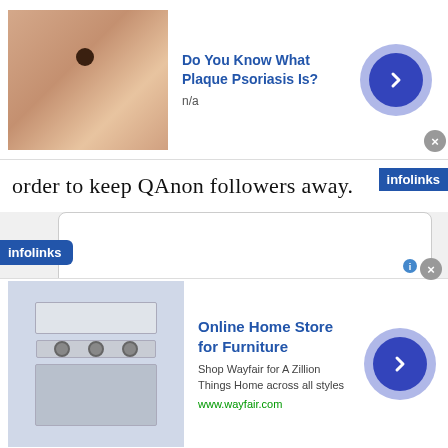[Figure (screenshot): Advertisement banner: image of skin with mole on left, title 'Do You Know What Plaque Psoriasis Is?', subtitle 'n/a', arrow button on right]
order to keep QAnon followers away.
[Figure (screenshot): infolinks label overlay on top-right of text area]
[Figure (screenshot): Empty white comment/content box with rounded border]
[Figure (screenshot): infolinks label on bottom-left]
[Figure (screenshot): Advertisement banner bottom: image of home appliances, title 'Online Home Store for Furniture', description 'Shop Wayfair for A Zillion Things Home across all styles', link 'www.wayfair.com', arrow button on right]